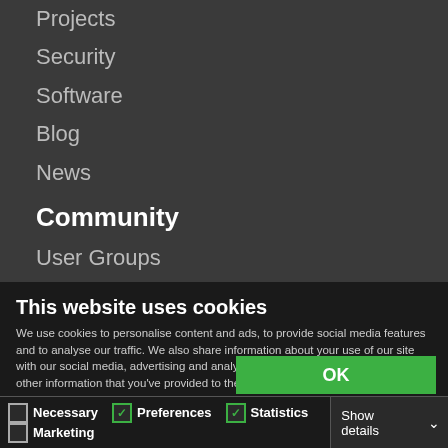Projects
Security
Software
Blog
News
Community
User Groups
Events
Jobs
This website uses cookies
We use cookies to personalise content and ads, to provide social media features and to analyse our traffic. We also share information about your use of our site with our social media, advertising and analytics partners who may combine it with other information that you've provided to them or that they've collected from your use of their services. You consent to our cookies if you continue to use our website.
OK
Necessary  Preferences  Statistics  Marketing  Show details